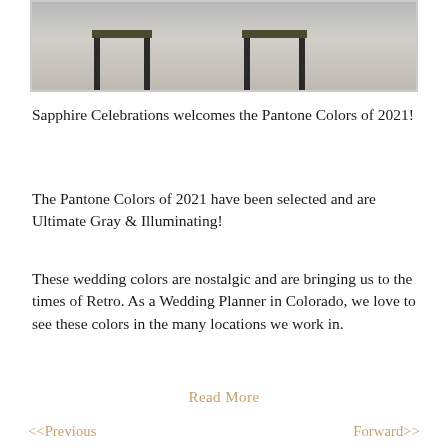[Figure (photo): Photo of furniture (table/bench legs) on a light gray floor or rug, cropped to show only the lower portion of the furniture and the floor.]
Sapphire Celebrations welcomes the Pantone Colors of 2021!
The Pantone Colors of 2021 have been selected and are Ultimate Gray & Illuminating!
These wedding colors are nostalgic and are bringing us to the times of Retro. As a Wedding Planner in Colorado, we love to see these colors in the many locations we work in.
Read More
<<Previous    Forward>>